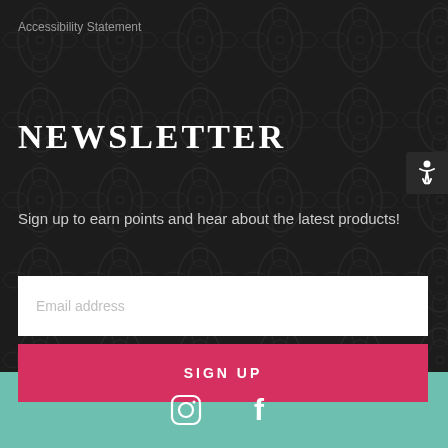Accessibility Statement
NEWSLETTER
Sign up to earn points and hear about the latest products!
Email address
SIGN UP
[Figure (illustration): Social media icons: Instagram and Facebook, white on teal background]